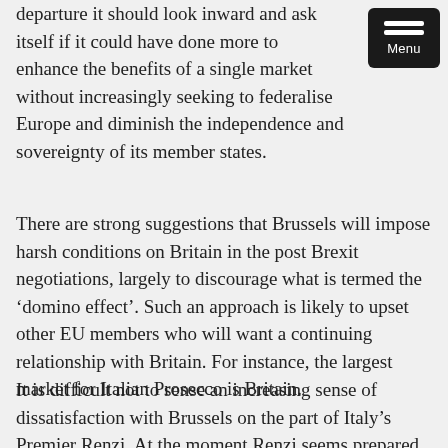departure it should look inward and ask itself if it could have done more to enhance the benefits of a single market without increasingly seeking to federalise Europe and diminish the independence and sovereignty of its member states.
There are strong suggestions that Brussels will impose harsh conditions on Britain in the post Brexit negotiations, largely to discourage what is termed the ‘domino effect’. Such an approach is likely to upset other EU members who will want a continuing relationship with Britain. For instance, the largest market for Italian Prosecco is Britain.
It is difficult not to sense an increasing sense of dissatisfaction with Brussels on the part of Italy’s Premier Renzi. At the moment Renzi seems prepared to ignore directives from the centr…